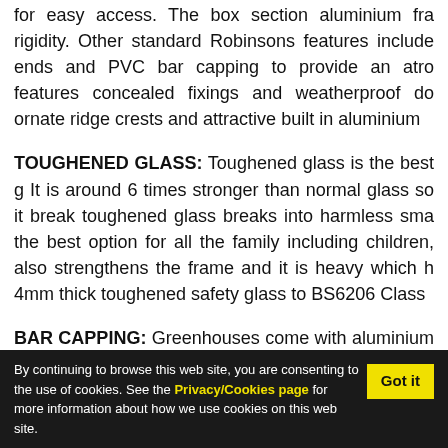for easy access. The box section aluminium fra rigidity. Other standard Robinsons features include ends and PVC bar capping to provide an atro features concealed fixings and weatherproof do ornate ridge crests and attractive built in aluminium
TOUGHENED GLASS: Toughened glass is the best g It is around 6 times stronger than normal glass so it break toughened glass breaks into harmless sma the best option for all the family including children, also strengthens the frame and it is heavy which h 4mm thick toughened safety glass to BS6206 Class
BAR CAPPING: Greenhouses come with aluminium glass is secured in aluminium greenhouses using sto Bar capping is an effective alternative which is at l
By continuing to browse this web site, you are consenting to the use of cookies. See the Privacy/Cookies page for more information about how we use cookies on this web site.